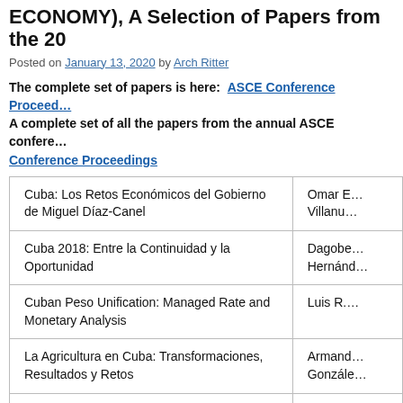ECONOMY), A Selection of Papers from the 20…
Posted on January 13, 2020 by Arch Ritter
The complete set of papers is here: ASCE Conference Proceed… A complete set of all the papers from the annual ASCE confere…
Conference Proceedings
| Title | Author |
| --- | --- |
| Cuba: Los Retos Económicos del Gobierno de Miguel Díaz-Canel | Omar E… Villanu… |
| Cuba 2018: Entre la Continuidad y la Oportunidad | Dagobe… Hernánd… |
| Cuban Peso Unification: Managed Rate and Monetary Analysis | Luis R.… |
| La Agricultura en Cuba: Transformaciones, Resultados y Retos | Armand… Gonzále… |
| Principal Elements of Agricultural Reforms in Transition Economies: Implications For Cuba? | Mario A… Corzo … |